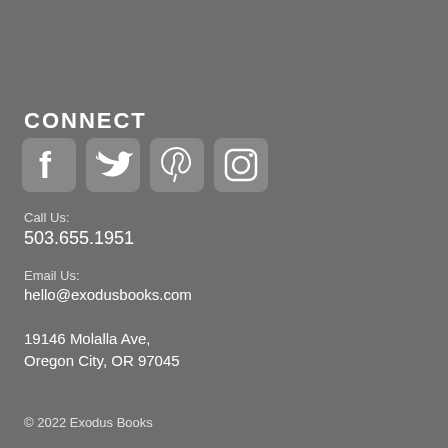CONNECT
[Figure (illustration): Four social media icons in rounded squares: Facebook, Twitter, Pinterest, Instagram]
Call Us:
503.655.1951
Email Us:
hello@exodusbooks.com
19146 Molalla Ave,
Oregon City, OR 97045
© 2022 Exodus Books